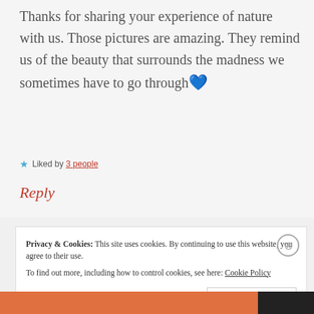Thanks for sharing your experience of nature with us. Those pictures are amazing. They remind us of the beauty that surrounds the madness we sometimes have to go through 💙
★ Liked by 3 people
Reply
Privacy & Cookies: This site uses cookies. By continuing to use this website, you agree to their use. To find out more, including how to control cookies, see here: Cookie Policy
Close and accept